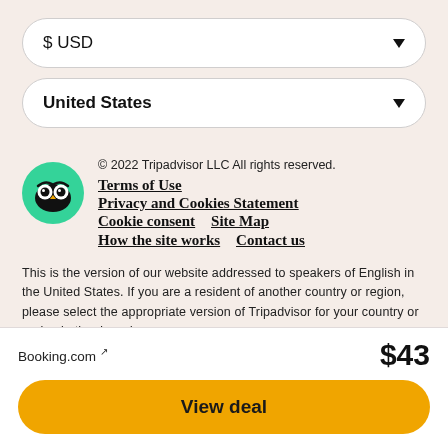$ USD
United States
© 2022 Tripadvisor LLC All rights reserved.
Terms of Use
Privacy and Cookies Statement
Cookie consent   Site Map
How the site works   Contact us
This is the version of our website addressed to speakers of English in the United States. If you are a resident of another country or region, please select the appropriate version of Tripadvisor for your country or region in the drop-down menu. more
Booking.com ↗
$43
View deal